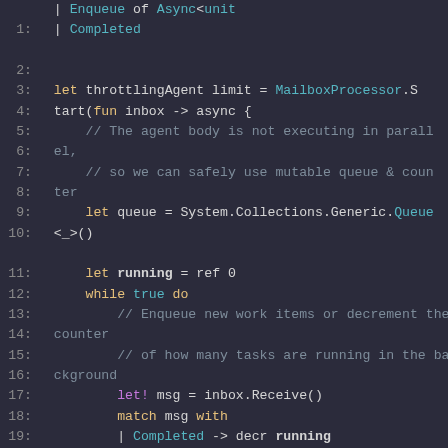[Figure (screenshot): F# code snippet showing a throttlingAgent implementation using MailboxProcessor with a mutable queue and running counter. Lines 1-28 visible, showing async mailbox processor that enqueues work items and tracks running background tasks.]